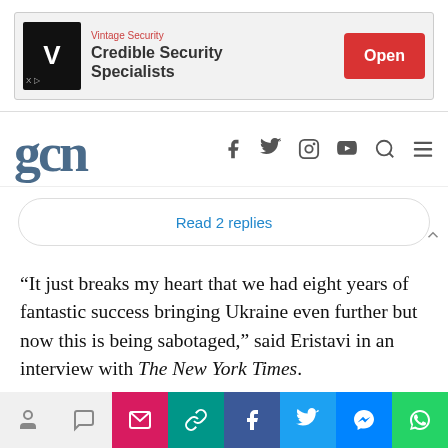[Figure (screenshot): Advertisement banner for Vintage Security - Credible Security Specialists with Open button]
gcn
Read 2 replies
“It just breaks my heart that we had eight years of fantastic success bringing Ukraine even further but now this is being sabotaged,” said Eristavi in an interview with The New York Times.
Not only are LGBTQ+ individuals at risk under Russia’s draconian anti-gay policing, but they also face losing access to vital healthcare resources. As a
[Figure (screenshot): Social share bar with icons for email, link, Facebook, Twitter, Messenger, WhatsApp]